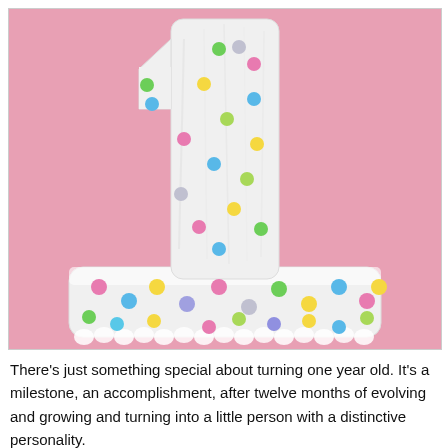[Figure (photo): A white frosted cake shaped like the number 1, decorated with colorful pastel pearl-like sprinkles (pink, blue, yellow, green, purple), set against a pink background.]
There's just something special about turning one year old.  It's a milestone, an accomplishment, after twelve months of evolving and growing and turning into a little person with a distinctive personality.